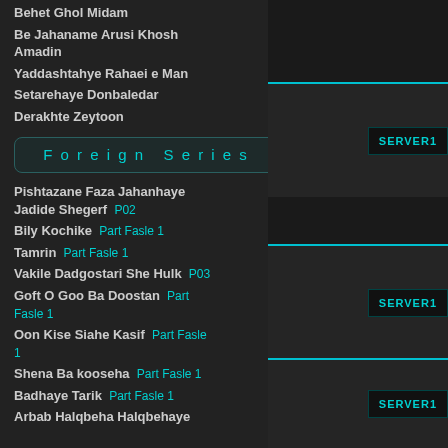Behet Ghol Midam
Be Jahaname Arusi Khosh Amadin
Yaddashtahye Rahaei e Man
Setarehaye Donbaledar
Derakhte Zeytoon
Foreign Series
Pishtazane Faza Jahanhaye Jadide Shegerf P02
Bily Kochike Part Fasle 1
Tamrin Part Fasle 1
Vakile Dadgostari She Hulk P03
Goft O Goo Ba Doostan Part Fasle 1
Oon Kise Siahe Kasif Part Fasle 1
Shena Ba kooseha Part Fasle 1
Badhaye Tarik Part Fasle 1
Arbab Halqbeha Halqbehaye
[Figure (screenshot): SERVER1 button with cyan border on dark background, appearing three times in the right column]
[Figure (screenshot): SERVER1 button with cyan border on dark background, second instance]
[Figure (screenshot): SERVER1 button with cyan border on dark background, third instance]